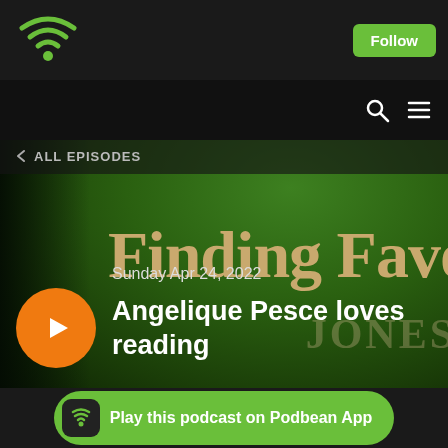Podbean app header with Follow button
[Figure (screenshot): Podbean podcast app screenshot showing a green gradient background with 'Finding Favo' text, a play button, date Sunday Apr 24 2022, and episode title 'Angelique Pesce loves reading']
Angelique Pesce loves reading
Sunday Apr 24, 2022
Play this podcast on Podbean App